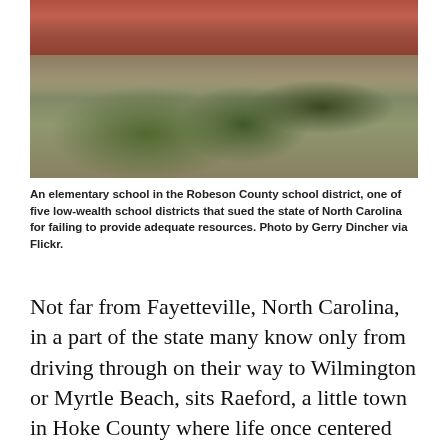[Figure (photo): An elementary school building with brick facade, trees in the foreground, and a parking lot/driveway area. Taken outdoors on a sunny day.]
An elementary school in the Robeson County school district, one of five low-wealth school districts that sued the state of North Carolina for failing to provide adequate resources. Photo by Gerry Dincher via Flickr.
Not far from Fayetteville, North Carolina, in a part of the state many know only from driving through on their way to Wilmington or Myrtle Beach, sits Raeford, a little town in Hoke County where life once centered around agriculture and manufacturing. Those sectors employed fewer and fewer people over the last quarter of the twentieth century. By the 1990s "The only thing left was a